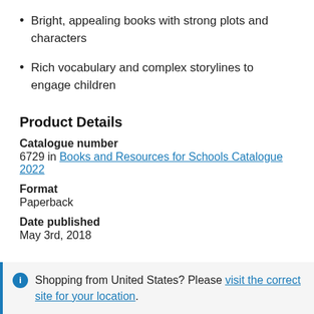Bright, appealing books with strong plots and characters
Rich vocabulary and complex storylines to engage children
Product Details
Catalogue number
6729 in Books and Resources for Schools Catalogue 2022
Format
Paperback
Date published
May 3rd, 2018
Shopping from United States? Please visit the correct site for your location.